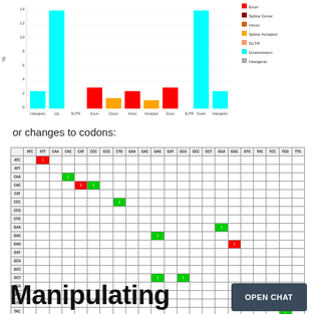[Figure (bar-chart): Genomic region distribution]
or changes to codons:
[Figure (table-as-image): Codon change matrix heatmap with rows and columns labeled by codons (ATC, ATT, CAA, CAC, CAT, CCC, CCG, CTG, GAA, GAC, GAG, GAT, GCA, GCC, GCT, GGA, GGG, GTG, TAC, TCC, TGG, TTG). Colored cells indicate single-nucleotide codon changes: red cells indicate negative changes, green cells indicate positive changes.]
Manipulating